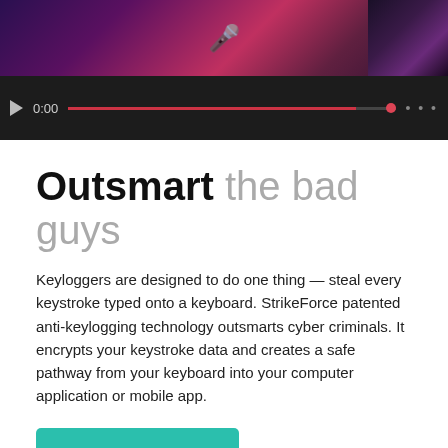[Figure (screenshot): Video player bar showing play button, timestamp 0:00, red progress bar at ~88%, and preview thumbnail area with colorful gradient background and fan/hardware element on the right]
Outsmart the bad guys
Keyloggers are designed to do one thing — steal every keystroke typed onto a keyboard. StrikeForce patented anti-keylogging technology outsmarts cyber criminals. It encrypts your keystroke data and creates a safe pathway from your keyboard into your computer application or mobile app.
BUY NOW